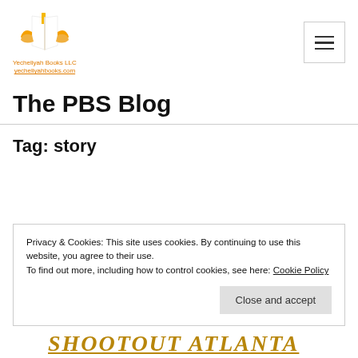[Figure (logo): Yecheliyah Books LLC logo: open book with orange hands/wings, white pages with bookmark, and company name below]
The PBS Blog
Tag: story
Privacy & Cookies: This site uses cookies. By continuing to use this website, you agree to their use.
To find out more, including how to control cookies, see here: Cookie Policy
Close and accept
SHOOTOUT ATLANTA